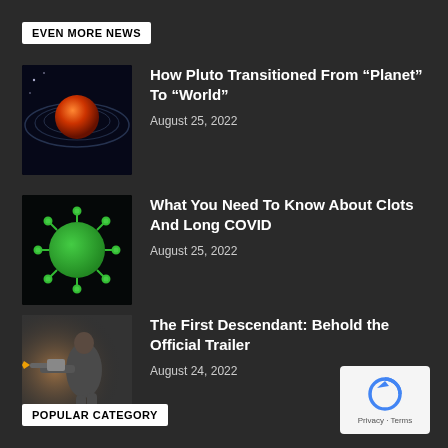EVEN MORE NEWS
[Figure (illustration): Illustration of the solar system with a red planet in the center surrounded by orbital rings against black space]
How Pluto Transitioned From “Planet” To “World”
August 25, 2022
[Figure (illustration): Green COVID-19 virus particle illustration on black background]
What You Need To Know About Clots And Long COVID
August 25, 2022
[Figure (photo): Person aiming a large weapon in a video game screenshot]
The First Descendant: Behold the Official Trailer
August 24, 2022
POPULAR CATEGORY